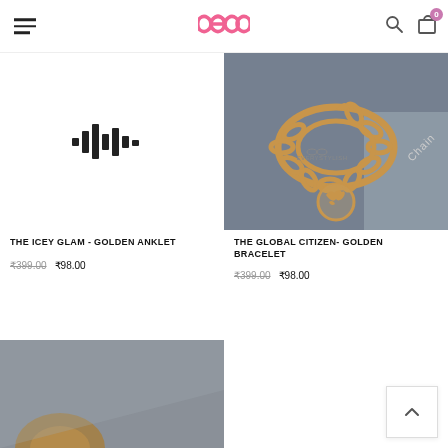Everystyish e-commerce header with logo, hamburger menu, search and cart icons
[Figure (photo): Left product image placeholder showing audio waveform bars icon on white background]
THE ICEY GLAM - GOLDEN ANKLET
₹399.00  ₹98.00
[Figure (photo): Gold chain bracelet with world map globe charm pendant on grey background, with Everystylish logo watermark and 'Chain' text diagonal label]
THE GLOBAL CITIZEN- GOLDEN BRACELET
₹399.00  ₹98.00
[Figure (photo): Partial view of another product on grey background - bottom of page cut off]